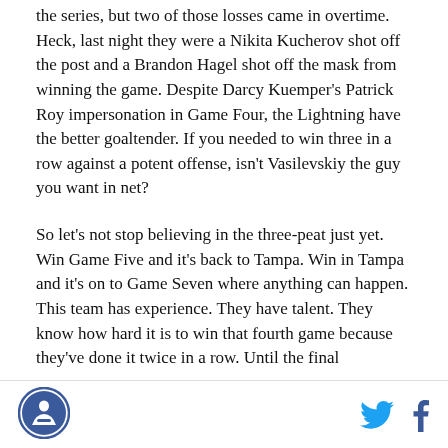the series, but two of those losses came in overtime. Heck, last night they were a Nikita Kucherov shot off the post and a Brandon Hagel shot off the mask from winning the game. Despite Darcy Kuemper's Patrick Roy impersonation in Game Four, the Lightning have the better goaltender. If you needed to win three in a row against a potent offense, isn't Vasilevskiy the guy you want in net?
So let's not stop believing in the three-peat just yet. Win Game Five and it's back to Tampa. Win in Tampa and it's on to Game Seven where anything can happen. This team has experience. They have talent. They know how hard it is to win that fourth game because they've done it twice in a row. Until the final
[Figure (logo): Circular logo with blue border and stylized icon inside]